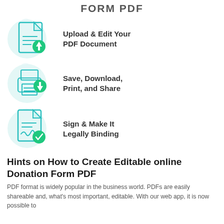FORM PDF
[Figure (illustration): Teal icon of a document with an upload arrow badge, on a light teal circle background]
Upload & Edit Your PDF Document
[Figure (illustration): Teal icon of a printer with a download arrow badge, on a light teal circle background]
Save, Download, Print, and Share
[Figure (illustration): Teal icon of a signed document with a checkmark badge, on a light teal circle background]
Sign & Make It Legally Binding
Hints on How to Create Editable online Donation Form PDF
PDF format is widely popular in the business world. PDFs are easily shareable and, what's most important, editable. With our web app, it is now possible to